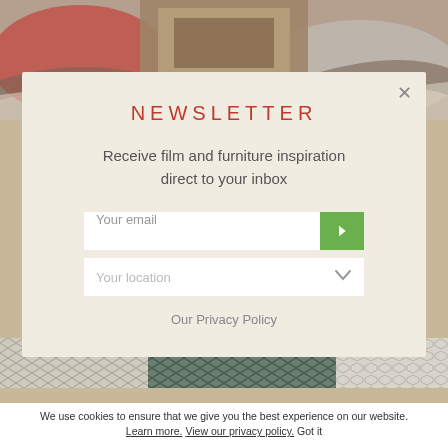[Figure (photo): Decorative image at top showing books, wood, and fabric in muted earthy tones]
NEWSLETTER
Receive film and furniture inspiration direct to your inbox
[Figure (screenshot): Email input field with green submit arrow button and location dropdown field below]
Our Privacy Policy
[Figure (photo): Three decorative rug pattern swatches at the bottom of the page]
We use cookies to ensure that we give you the best experience on our website. Learn more. View our privacy policy. Got it